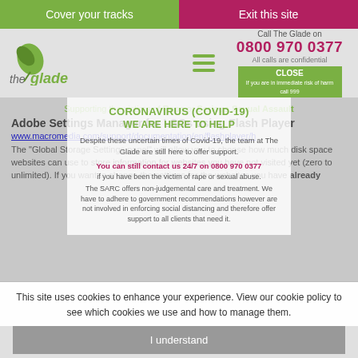Cover your tracks | Exit this site
[Figure (logo): The Glade logo with green leaf and stylized text]
Call The Glade on 0800 970 0377 All calls are confidential
CLOSE If you are in immediate risk of harm call 999
CORONAVIRUS (COVID-19)
Supporting the victims of Rape or Serious Sexual Assault
WE ARE HERE TO HELP
Despite these uncertain times of Covid-19, the team at The Glade are still here to offer support.
You can still contact us 24/7 on 0800 970 0377 if you have been the victim of rape or sexual abuse.
The SARC offers non-judgemental care and treatment. We have to adhere to government recommendations however are not involved in enforcing social distancing and therefore offer support to all clients that need it.
Adobe Settings Manager for LSOs using Flash Player
www.macromedia.com/support/documentation/en/flashplayer/h
The "Global Storage Settings panel" will allow you to choose how much disk space websites can use to store information for websites you have not visited yet (zero to unlimited). If you want to change the settings for the websites you have already
This site uses cookies to enhance your experience. View our cookie policy to see which cookies we use and how to manage them.
I understand
Cookie Policy